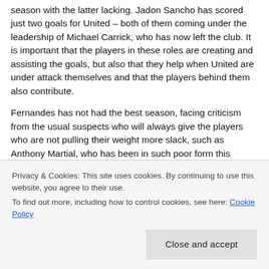assisting and the former is streets ahead at this stage of the season with the latter lacking. Jadon Sancho has scored just two goals for United – both of them coming under the leadership of Michael Carrick, who has now left the club. It is important that the players in these roles are creating and assisting the goals, but also that they help when United are under attack themselves and that the players behind them also contribute.
Fernandes has not had the best season, facing criticism from the usual suspects who will always give the players who are not pulling their weight more slack, such as Anthony Martial, who has been in such poor form this season and last. In fact, he's had two good seasons at the club but his 'fans' will always
Privacy & Cookies: This site uses cookies. By continuing to use this website, you agree to their use.
To find out more, including how to control cookies, see here: Cookie Policy